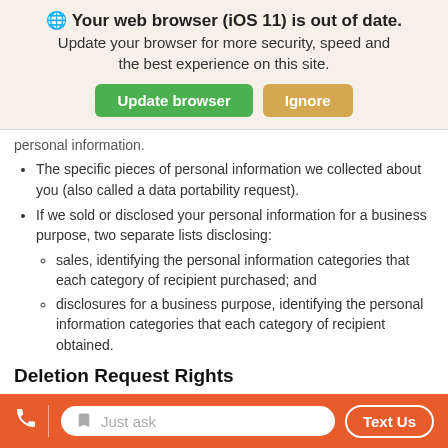[Figure (screenshot): Browser update notification banner with globe icon, bold title 'Your web browser (iOS 11) is out of date.', subtitle text, and two buttons: 'Update browser' (green) and 'Ignore' (tan/gold).]
personal information.
The specific pieces of personal information we collected about you (also called a data portability request).
If we sold or disclosed your personal information for a business purpose, two separate lists disclosing:
sales, identifying the personal information categories that each category of recipient purchased; and
disclosures for a business purpose, identifying the personal information categories that each category of recipient obtained.
Deletion Request Rights
You have the right to request that we delete any of your personal information that we collected from you and retained, subject to
[Figure (screenshot): Bottom navigation bar in orange/red with phone icon, divider, text input field with placeholder 'Just ask', and 'Text Us' button.]